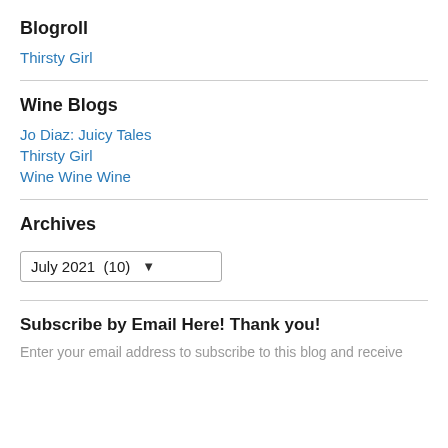Blogroll
Thirsty Girl
Wine Blogs
Jo Diaz: Juicy Tales
Thirsty Girl
Wine Wine Wine
Archives
July 2021  (10)
Subscribe by Email Here! Thank you!
Enter your email address to subscribe to this blog and receive